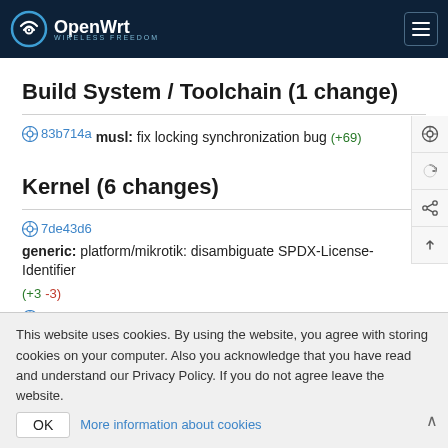OpenWrt
Build System / Toolchain (1 change)
83b714a  musl: fix locking synchronization bug  (+69)
Kernel (6 changes)
7de43d6  generic: platform/mikrotik: disambiguate SPDX-License-Identifier  (+3 -3)
a32b0ec  generic: fix flow table hw offload  (+18 -15)
This website uses cookies. By using the website, you agree with storing cookies on your computer. Also you acknowledge that you have read and understand our Privacy Policy. If you do not agree leave the website.